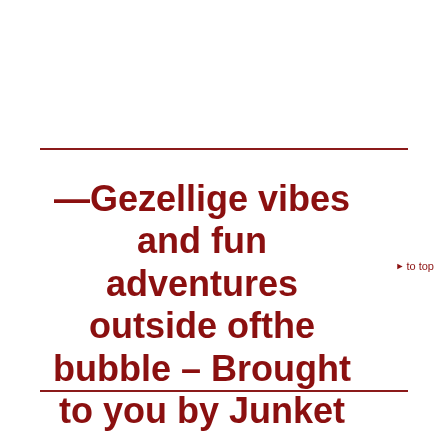—Gezellige vibes and fun adventures outside ofthe bubble – Brought to you by Junket—
▶ to top